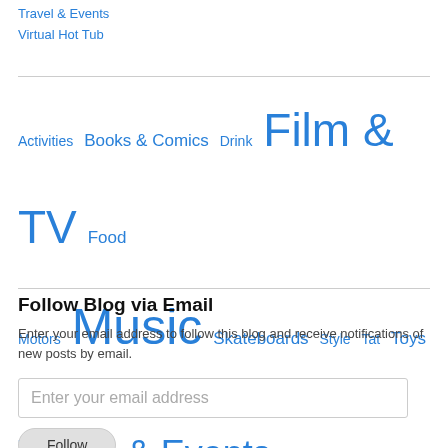Travel & Events
Virtual Hot Tub
[Figure (other): Tag cloud with categories: Activities, Books & Comics, Drink, Film & TV, Food, Motors, Music, Skateboards, Style, Tat, Toys & Games, Travel & Events, Virtual Hot Tub]
Follow Blog via Email
Enter your email address to follow this blog and receive notifications of new posts by email.
Enter your email address
Follow